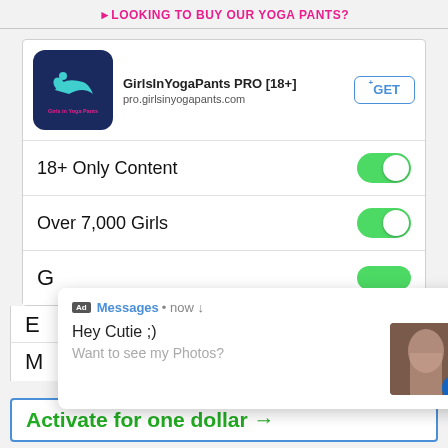LOOKING TO BUY OUR YOGA PANTS?
[Figure (screenshot): App store listing for GirlsInYogaPants PRO [18+] showing app icon, URL pro.girlsinyogapants.com, and GET button]
18+ Only Content
Over 7,000 Girls
[Figure (screenshot): Notification popup ad with 'Ad Messages • now' header, text 'Hey Cutie ;) Want to see my Photos?' and a thumbnail image with close button]
Activate for one dollar →